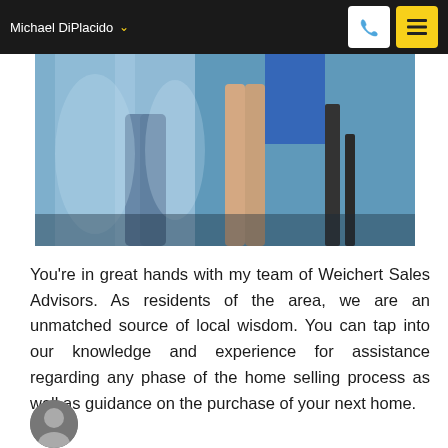Michael DiPlacido
[Figure (photo): Partial view of people's legs and lower bodies, appearing to be at some kind of event or gathering, with blue/teal tones]
You're in great hands with my team of Weichert Sales Advisors. As residents of the area, we are an unmatched source of local wisdom. You can tap into our knowledge and experience for assistance regarding any phase of the home selling process as well as guidance on the purchase of your next home.
[Figure (photo): Circular avatar/profile photo partially visible at bottom of page]